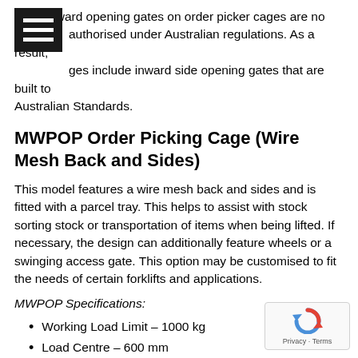that outward opening gates on order picker cages are no longer authorised under Australian regulations. As a result, our cages include inward side opening gates that are built to Australian Standards.
MWPOP Order Picking Cage (Wire Mesh Back and Sides)
This model features a wire mesh back and sides and is fitted with a parcel tray. This helps to assist with stock sorting stock or transportation of items when being lifted. If necessary, the design can additionally feature wheels or a swinging access gate. This option may be customised to fit the needs of certain forklifts and applications.
MWPOP Specifications:
Working Load Limit – 1000 kg
Load Centre – 600 mm
Unit Weight – 180 kg
Fork Pocket Size – 140 x 65 mm